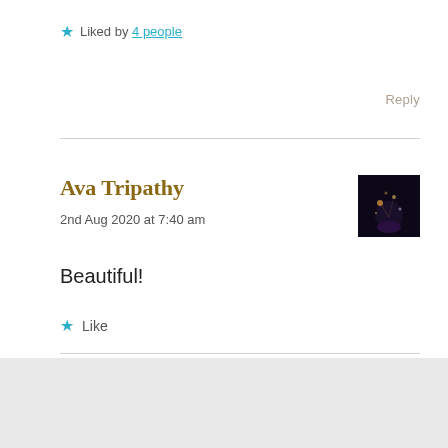★ Liked by 4 people
Reply
Ava Tripathy
2nd Aug 2020 at 7:40 am
[Figure (photo): Dark atmospheric photo used as user avatar thumbnail]
Beautiful!
★ Like
Advertisements
[Figure (infographic): DuckDuckGo advertisement banner: Search, browse, and email with more privacy. All in One Free App. Shows a phone with DuckDuckGo logo.]